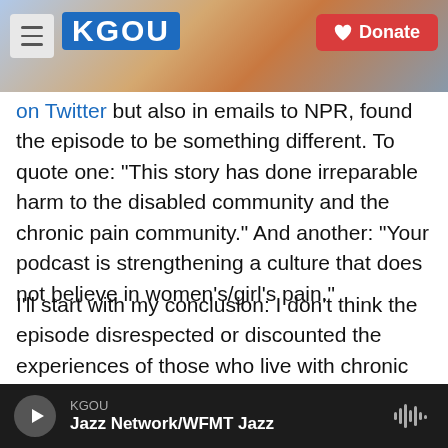KGOU — Donate
on Twitter but also in emails to NPR, found the episode to be something different. To quote one: "This story has done irreparable harm to the disabled community and the chronic pain community." And another: "Your podcast is strengthening a culture that does not believe in women's/girl's pain."
I'll start with my conclusion: I don't think the episode disrespected or discounted the experiences of those who live with chronic pain. And I did not find it unethical, as some charged, or that it promoted "pseudoscience" or "child abuse." (NPR's standards
KGOU — Jazz Network/WFMT Jazz